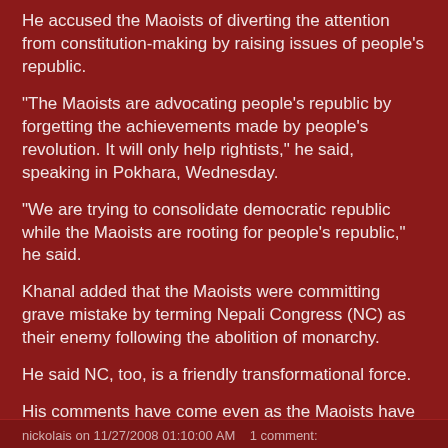He accused the Maoists of diverting the attention from constitution-making by raising issues of people’s republic.
“The Maoists are advocating people’s republic by forgetting the achievements made by people's revolution. It will only help rightists,” he said, speaking in Pokhara, Wednesday.
“We are trying to consolidate democratic republic while the Maoists are rooting for people's republic,” he said.
Khanal added that the Maoists were committing grave mistake by terming Nepali Congress (NC) as their enemy following the abolition of monarchy.
He said NC, too, is a friendly transformational force.
His comments have come even as the Maoists have decided to adopt “People’s Federal Democratic National Republic” as their main policy.
nickolais on 11/27/2008 01:10:00 AM    1 comment: